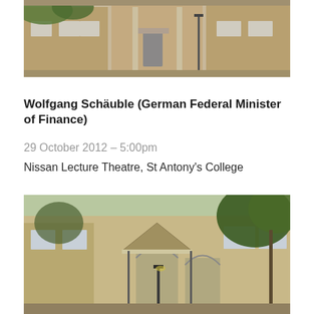[Figure (photo): Photograph of brick building exterior with trees and windows, partial view cropped at top of page]
Wolfgang Schäuble (German Federal Minister of Finance)
29 October 2012 – 5:00pm
Nissan Lecture Theatre, St Antony's College
[Figure (photo): Photograph of brick building exterior with gothic arched windows, trees, and roofline — St Antony's College Oxford]